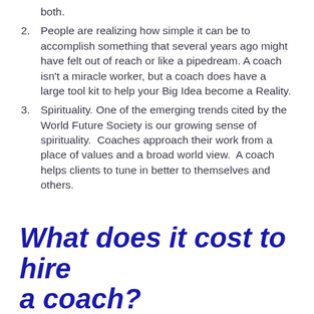both.
People are realizing how simple it can be to accomplish something that several years ago might have felt out of reach or like a pipedream. A coach isn't a miracle worker, but a coach does have a large tool kit to help your Big Idea become a Reality.
Spirituality. One of the emerging trends cited by the World Future Society is our growing sense of spirituality.  Coaches approach their work from a place of values and a broad world view.  A coach helps clients to tune in better to themselves and others.
What does it cost to hire a coach?